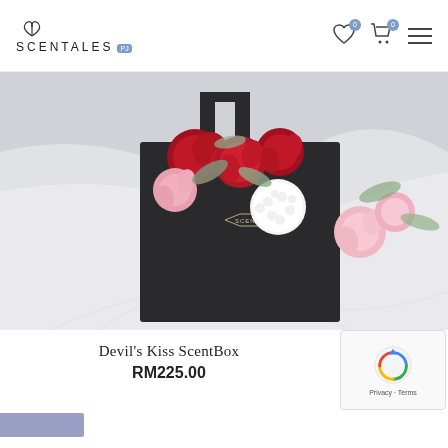SCENTALES
[Figure (photo): A black SCENTALES branded box filled with red and pink roses and a white spherical flower, arranged on white fabric/tulle background.]
Devil's Kiss ScentBox
RM225.00